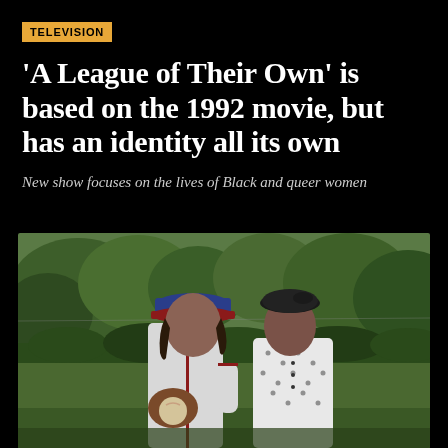TELEVISION
'A League of Their Own' is based on the 1992 movie, but has an identity all its own
New show focuses on the lives of Black and queer women
[Figure (photo): Two Black women in vintage 1940s-era clothing and baseball attire standing outdoors on a field with green trees and hedges in the background. The woman on the left wears a baseball uniform with a blue and red cap and holds a baseball glove. The woman on the right wears a white polka-dot blouse and a dark beret.]